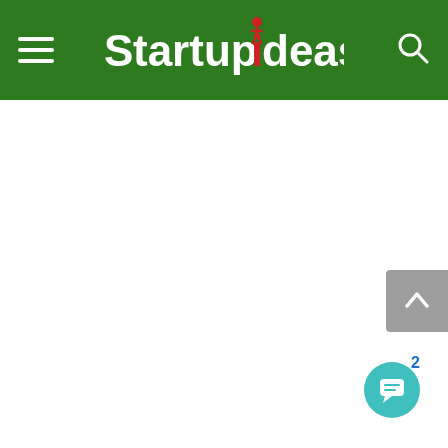Startup Ideas
[Figure (screenshot): White empty content area below the Startup Ideas header]
[Figure (other): Back to top arrow button, grey rounded rectangle on right edge]
[Figure (other): Chat bubble button with badge number 2, teal circle with speech bubble icon]